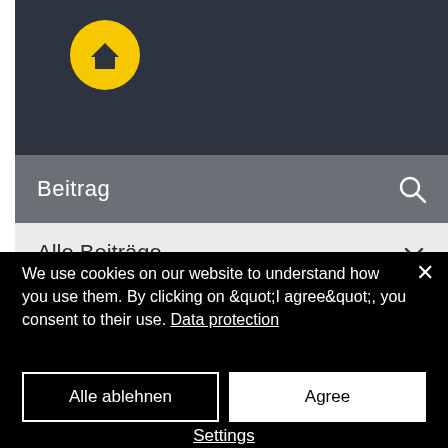[Figure (screenshot): Website interface showing dark top navigation bar with yellow circular home icon, a grey search bar with 'Beitrag' text and search icon, a light grey dropdown bar with 'Alle Beiträge' and chevron, and a yellow band below]
We use cookies on our website to understand how you use them. By clicking on &quot;I agree&quot;, you consent to their use. Data protection
Alle ablehnen
Agree
Settings